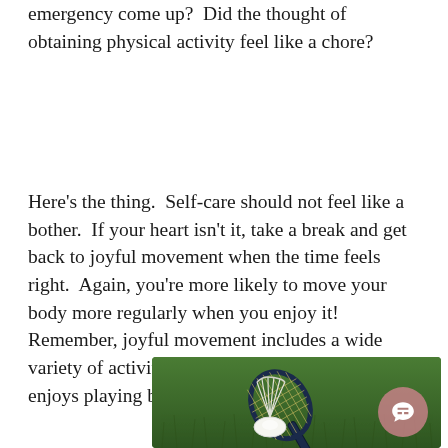emergency come up?  Did the thought of obtaining physical activity feel like a chore?
Here's the thing.  Self-care should not feel like a bother.  If your heart isn't it, take a break and get back to joyful movement when the time feels right.  Again, you're more likely to move your body more regularly when you enjoy it!  Remember, joyful movement includes a wide variety of activities.  Are you someone who enjoys playing badminton? Count it!
[Figure (photo): A badminton shuttlecock resting on a badminton racket on green grass, with a pink chat bubble icon overlay in the lower right area of the image.]